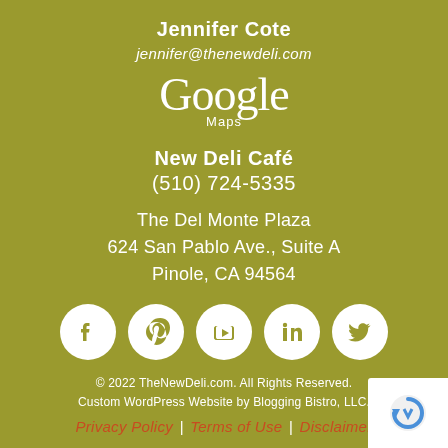Jennifer Cote
jennifer@thenewdeli.com
[Figure (logo): Google Maps logo in white text on olive/yellow-green background]
New Deli Café
(510) 724-5335
The Del Monte Plaza
624 San Pablo Ave., Suite A
Pinole, CA 94564
[Figure (illustration): Five social media icon circles (Facebook, Pinterest, YouTube, LinkedIn, Twitter) in white on olive background]
© 2022 TheNewDeli.com. All Rights Reserved.
Custom WordPress Website by Blogging Bistro, LLC.
Privacy Policy | Terms of Use | Disclaimer